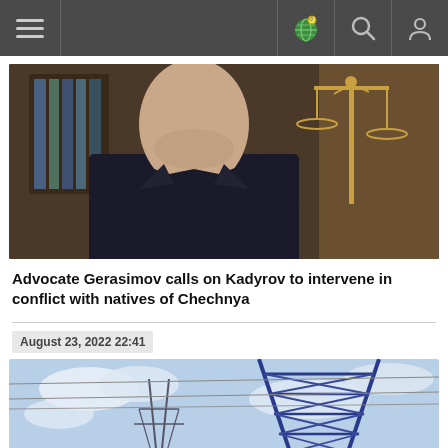[Figure (screenshot): Navigation bar with hamburger menu, globe icon, search icon, and user icon on dark gray background]
[Figure (photo): Man in dark suit with red tie, justice scales statue in background]
Advocate Gerasimov calls on Kadyrov to intervene in conflict with natives of Chechnya
August 23, 2022 22:41
[Figure (photo): Power line transmission tower against cloudy sky, close-up angle showing blue metal lattice structure]